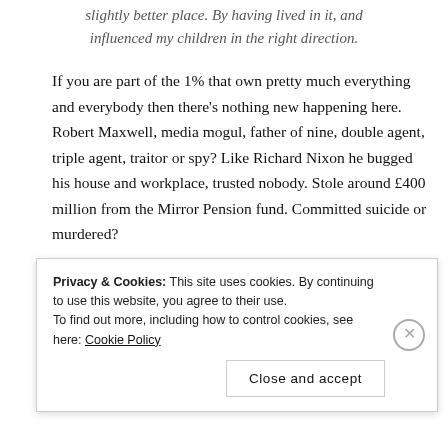slightly better place. By having lived in it, and influenced my children in the right direction.
If you are part of the 1% that own pretty much everything and everybody then there's nothing new happening here. Robert Maxwell, media mogul, father of nine, double agent, triple agent, traitor or spy? Like Richard Nixon he bugged his house and workplace, trusted nobody. Stole around £400 million from the Mirror Pension fund. Committed suicide or murdered?
After Robert Maxwell's death his assets were sold to pay off his debts. His sons, Kevin and Ian, were involved in the trial
Privacy & Cookies: This site uses cookies. By continuing to use this website, you agree to their use. To find out more, including how to control cookies, see here: Cookie Policy
Close and accept